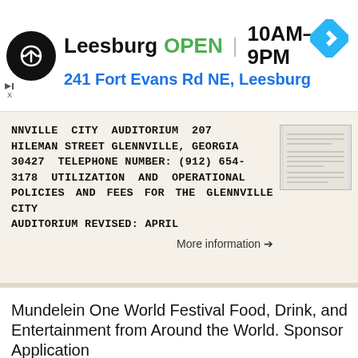[Figure (screenshot): Google Maps ad bar showing Leesburg location, logo, OPEN status, hours 10AM-9PM, address 241 Fort Evans Rd NE Leesburg, and navigation arrow icon]
NNVILLE CITY AUDITORIUM 207 HILEMAN STREET GLENNVILLE, GEORGIA 30427 TELEPHONE NUMBER: (912) 654-3178 UTILIZATION AND OPERATIONAL POLICIES AND FEES FOR THE GLENNVILLE CITY AUDITORIUM REVISED: APRIL
More information →
Mundelein One World Festival Food, Drink, and Entertainment from Around the World. Sponsor Application
(Office Use) DATE RECEIVED: BY: Mundelein One World Festival Food, Drink, and Entertainment from Around the World. Sponsor Application - 2013 DESCRIPTION